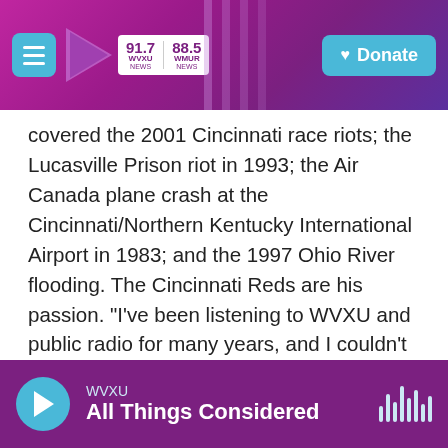WVXU 91.7 NEWS | 88.5 WHUR NEWS | Donate
covered the 2001 Cincinnati race riots; the Lucasville Prison riot in 1993; the Air Canada plane crash at the Cincinnati/Northern Kentucky International Airport in 1983; and the 1997 Ohio River flooding. The Cincinnati Reds are his passion. "I've been listening to WVXU and public radio for many years, and I couldn't be more pleased at the opportunity to be part of it," he says.
See stories by Howard Wilkinson
WVXU — All Things Considered